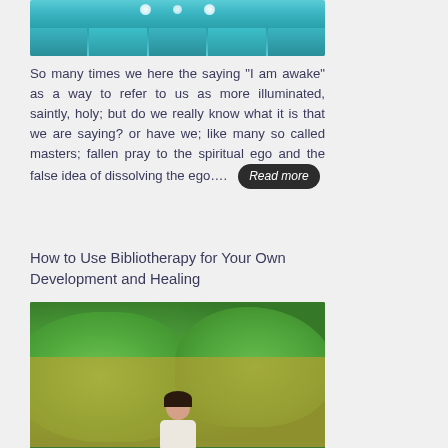[Figure (photo): Teal/turquoise stage or hall with lights at the top, curtain-like structures below, partial image cropped at top of page]
So many times we here the saying "I am awake" as a way to refer to us as more illuminated, saintly, holy; but do we really know what it is that we are saying? or have we; like many so called masters; fallen pray to the spiritual ego and the false idea of dissolving the ego…. Read more
How to Use Bibliotherapy for Your Own Development and Healing
[Figure (photo): A girl sitting outdoors reading a book, surrounded by green foliage against a yellow wall]
Self-development and healing can be difficult tasks. There are so many things to consider! But one great way to help with both of those things is through the use of bibliotherapy.